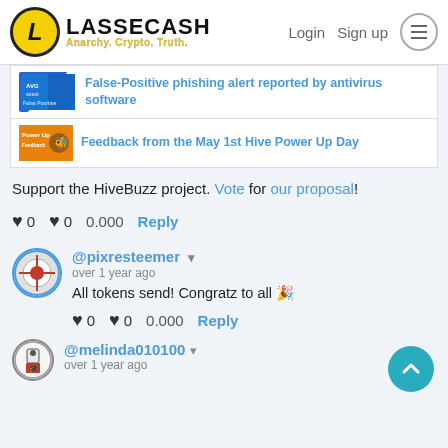LASSECASH - Anarchy. Crypto. Truth. | Login | Sign up
False-Positive phishing alert reported by antivirus software
Feedback from the May 1st Hive Power Up Day
Support the HiveBuzz project. Vote for our proposal!
♥ 0  ♥ 0  0.000  Reply
@pixresteemer ▾
over 1 year ago
All tokens send! Congratz to all 🎉
♥ 0  ♥ 0  0.000  Reply
@melinda010100 ▾
over 1 year ago